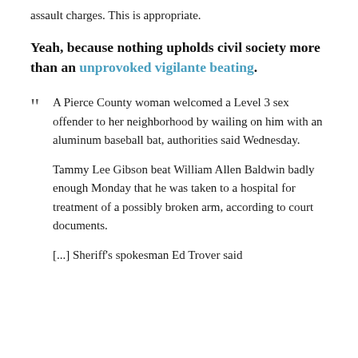assault charges. This is appropriate.
Yeah, because nothing upholds civil society more than an unprovoked vigilante beating.
A Pierce County woman welcomed a Level 3 sex offender to her neighborhood by wailing on him with an aluminum baseball bat, authorities said Wednesday.

Tammy Lee Gibson beat William Allen Baldwin badly enough Monday that he was taken to a hospital for treatment of a possibly broken arm, according to court documents.

[...] Sheriff's spokesman Ed Trover said